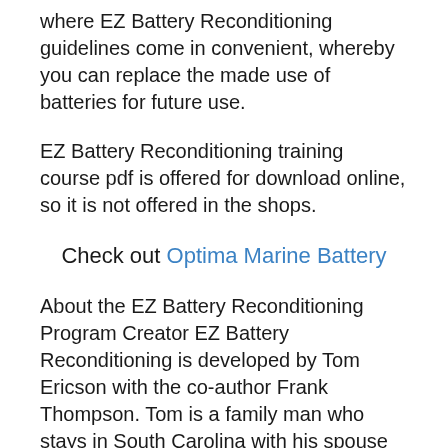where EZ Battery Reconditioning guidelines come in convenient, whereby you can replace the made use of batteries for future use.
EZ Battery Reconditioning training course pdf is offered for download online, so it is not offered in the shops.
Check out Optima Marine Battery
About the EZ Battery Reconditioning Program Creator EZ Battery Reconditioning is developed by Tom Ericson with the co-author Frank Thompson. Tom is a family man who stays in South Carolina with his spouse and kids. Nonetheless, they were having financial